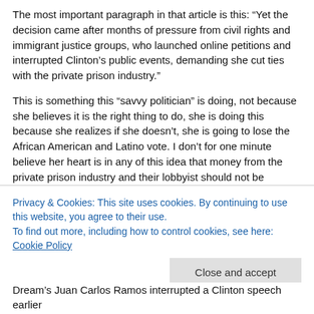The most important paragraph in that article is this: “Yet the decision came after months of pressure from civil rights and immigrant justice groups, who launched online petitions and interrupted Clinton’s public events, demanding she cut ties with the private prison industry.”
This is something this “savvy politician” is doing, not because she believes it is the right thing to do, she is doing this because she realizes if she doesn’t, she is going to lose the African American and Latino vote. I don’t for one minute believe her heart is in any of this idea that money from the private prison industry and their lobbyist should not be accepted. And, also too, isn’t it a fact that the candidate cannot coordinate/dictate the actions of PAC’s?
“Civil rights group ColorOfChange announced Thursday that the
Privacy & Cookies: This site uses cookies. By continuing to use this website, you agree to their use.
To find out more, including how to control cookies, see here: Cookie Policy
Close and accept
Dream’s Juan Carlos Ramos interrupted a Clinton speech earlier